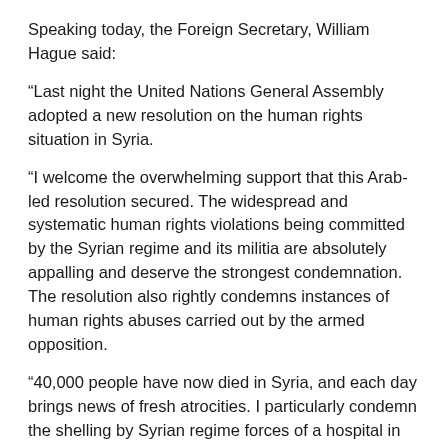Speaking today, the Foreign Secretary, William Hague said:
“Last night the United Nations General Assembly adopted a new resolution on the human rights situation in Syria.
“I welcome the overwhelming support that this Arab-led resolution secured. The widespread and systematic human rights violations being committed by the Syrian regime and its militia are absolutely appalling and deserve the strongest condemnation. The resolution also rightly condemns instances of human rights abuses carried out by the armed opposition.
“40,000 people have now died in Syria, and each day brings news of fresh atrocities. I particularly condemn the shelling by Syrian regime forces of a hospital in Aleppo last week which killed five civilians; the reports that 10 children were killed when the regime dropped cluster bombs on a nursery school in Damascus province; and the regime’s use of arbitrary detention, torture, enforced disappearances and sexual violence.
“I call on the Syrian regime to put an immediate end to such human rights violations and attacks against civilians. I call on